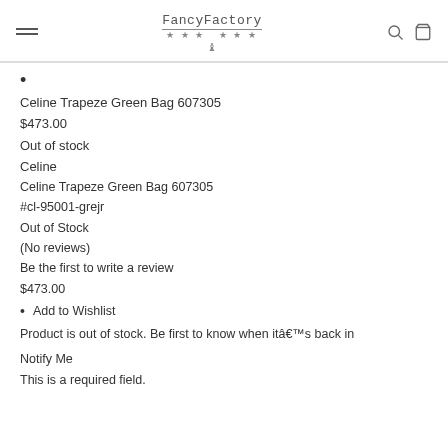FancyFactory *** crown *** (logo with hamburger menu, search icon, cart icon)
•
Celine Trapeze Green Bag 607305
$473.00
Out of stock
Celine
Celine Trapeze Green Bag 607305
#cl-95001-grejr
Out of Stock
(No reviews)
Be the first to write a review
$473.00
Add to Wishlist
Product is out of stock. Be first to know when itâ€™s back in
Notify Me
This is a required field.